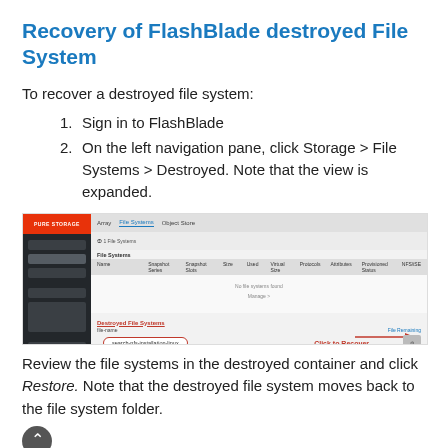Recovery of FlashBlade destroyed File System
To recover a destroyed file system:
Sign in to FlashBlade
On the left navigation pane, click Storage > File Systems > Destroyed. Note that the view is expanded.
[Figure (screenshot): Screenshot of Pure Storage FlashBlade UI showing the Storage > File Systems > Destroyed view, with a circled file system entry and a 'Click to Recover' label with a red arrow pointing to a recover button.]
Review the file systems in the destroyed container and click Restore. Note that the destroyed file system moves back to the file system folder.
Once the destroyed file system is recovered, it